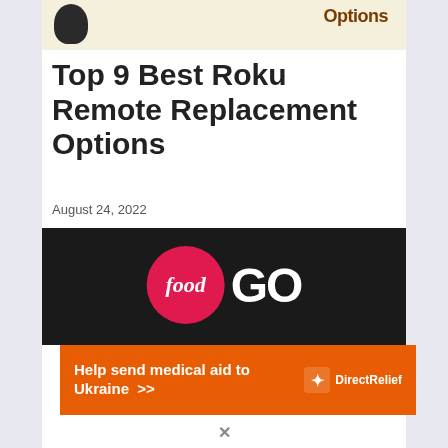[Figure (illustration): Partial top image showing a dark Roku remote device on the left side and bold brown text 'Options' on the right, on a cream/beige background]
Top 9 Best Roku Remote Replacement Options
August 24, 2022
[Figure (logo): Food Network GO logo — red circle with white italic 'food' text next to bold white 'GO' text on a dark/black background]
[Figure (infographic): Orange advertisement banner reading 'Help send medical aid to Ukraine >>' with Direct Relief logo on the right]